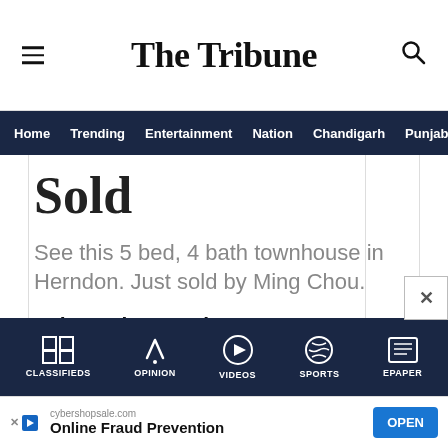The Tribune
Home  Trending  Entertainment  Nation  Chandigarh  Punjab
Sold
See this 5 bed, 4 bath townhouse in Herndon. Just sold by Ming Chou.
Independent Realty, Inc
CLASSIFIEDS  OPINION  VIDEOS  SPORTS  EPAPER
cybershopsale.com  Online Fraud Prevention  OPEN